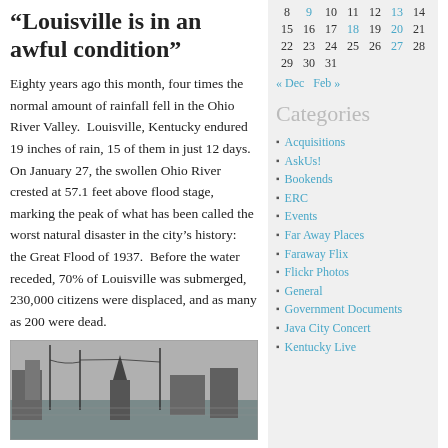“Louisville is in an awful condition”
Eighty years ago this month, four times the normal amount of rainfall fell in the Ohio River Valley.  Louisville, Kentucky endured 19 inches of rain, 15 of them in just 12 days.  On January 27, the swollen Ohio River crested at 57.1 feet above flood stage, marking the peak of what has been called the worst natural disaster in the city’s history:  the Great Flood of 1937.  Before the water receded, 70% of Louisville was submerged, 230,000 citizens were displaced, and as many as 200 were dead.
[Figure (photo): Black and white historical photograph of Louisville during the 1937 flood, showing flooded streets with buildings and a church steeple visible above the water]
| 8 | 9 | 10 | 11 | 12 | 13 | 14 |
| 15 | 16 | 17 | 18 | 19 | 20 | 21 |
| 22 | 23 | 24 | 25 | 26 | 27 | 28 |
| 29 | 30 | 31 |  |  |  |  |
« Dec  Feb »
Categories
Acquisitions
AskUs!
Bookends
ERC
Events
Far Away Places
Faraway Flix
Flickr Photos
General
Government Documents
Java City Concert
Kentucky Live